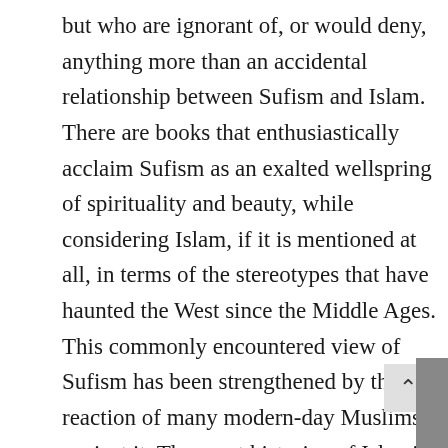but who are ignorant of, or would deny, anything more than an accidental relationship between Sufism and Islam. There are books that enthusiastically acclaim Sufism as an exalted wellspring of spirituality and beauty, while considering Islam, if it is mentioned at all, in terms of the stereotypes that have haunted the West since the Middle Ages. This commonly encountered view of Sufism has been strengthened by the reaction of many modern-day Muslims against it. The great historian of Islamic civilization, H. A. R. Gibb, pointed out fifty years ago that such Muslims look upon Sufism either as a “survival of superstitions” and “cultural backwardness” or as a deviation from “true Islam.” Gibb was sufficiently sensitive to Sufism’s reality to perceive that such attitudes seem bent “eliminating the expression of authentic religious